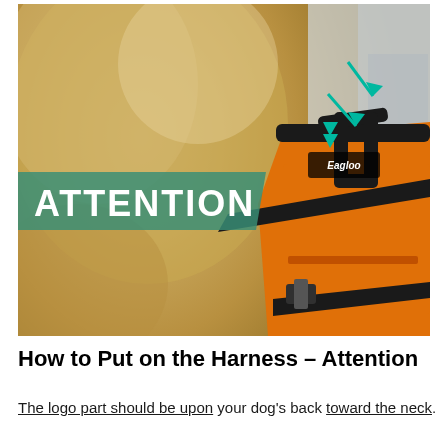[Figure (photo): A close-up photo of a golden dog wearing an orange and black 'Eagloo' harness. The harness has a top handle, black straps, and an orange vest. A teal-colored arrow graphic points to the logo area on the back of the harness. A green semi-transparent banner with the word 'ATTENTION' in white bold letters is overlaid on the lower-left portion of the image.]
How to Put on the Harness – Attention
The logo part should be upon your dog's back toward the neck.